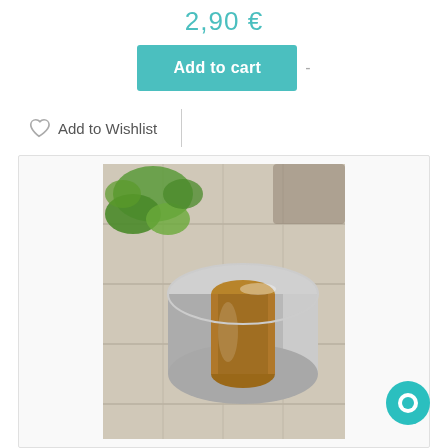2,90 €
Add to cart
Add to Wishlist
[Figure (photo): A roll of silver metallic/aluminium adhesive tape standing on a wooden surface with green plant in background]
[Figure (other): Teal chat bubble icon in bottom right corner]